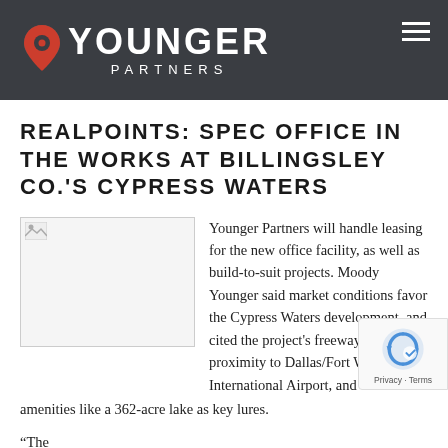YOUNGER PARTNERS
REALPOINTS: SPEC OFFICE IN THE WORKS AT BILLINGSLEY CO.'S CYPRESS WATERS
[Figure (photo): Placeholder image thumbnail in upper left of article]
Younger Partners will handle leasing for the new office facility, as well as build-to-suit projects. Moody Younger said market conditions favor the Cypress Waters development, and cited the project's freeway access, proximity to Dallas/Fort Worth International Airport, and amenities like a 362-acre lake as key lures.
“The...